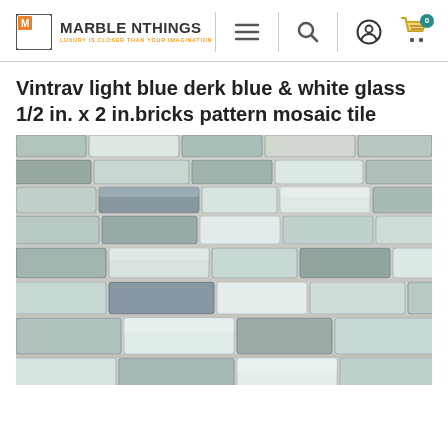MARBLE NTHINGS — LUXURY IS CLOSER THAN YOUR IMAGINATION
Vintrav light blue derk blue & white glass 1/2 in. x 2 in.bricks pattern mosaic tile
[Figure (photo): Close-up photo of glass mosaic tile in light blue, dark blue, and white brick pattern, 1/2 in. x 2 in. pieces arranged in offset rows]